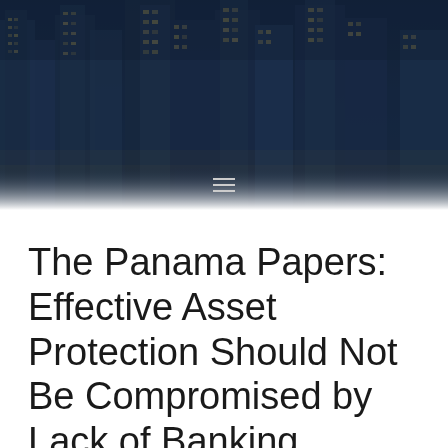[Figure (photo): Aerial night view of dense urban skyscrapers with dark blue overlay tint, city lights visible between buildings]
The Panama Papers: Effective Asset Protection Should Not Be Compromised by Lack of Banking Secrecy